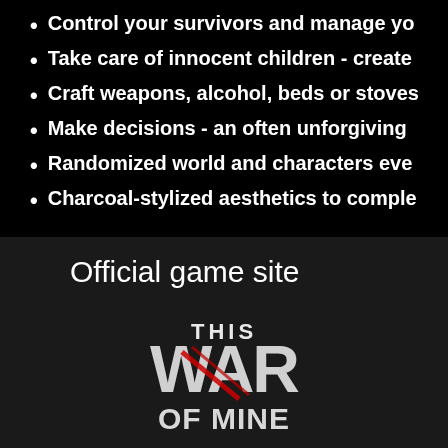Control your survivors and manage yo
Take care of innocent children - create
Craft weapons, alcohol, beds or stoves
Make decisions - an often unforgiving
Randomized world and characters eve
Charcoal-stylized aesthetics to comple
Official game site
[Figure (logo): This War of Mine game logo — stylized grunge text reading THIS WAR OF MINE with red accent marks]